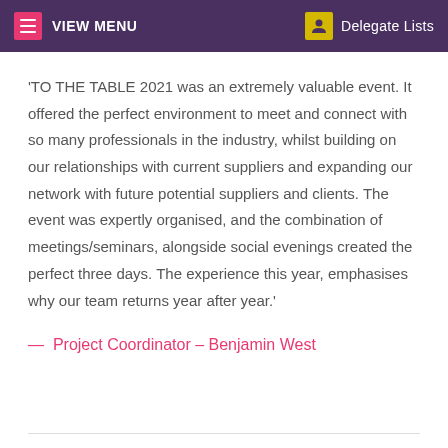VIEW MENU   Delegate Lists
'TO THE TABLE 2021 was an extremely valuable event. It offered the perfect environment to meet and connect with so many professionals in the industry, whilst building on our relationships with current suppliers and expanding our network with future potential suppliers and clients. The event was expertly organised, and the combination of meetings/seminars, alongside social evenings created the perfect three days. The experience this year, emphasises why our team returns year after year.'
— Project Coordinator – Benjamin West